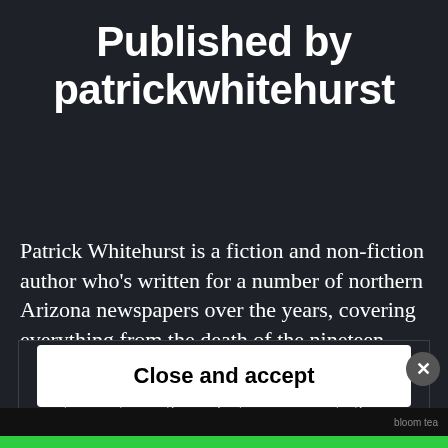Published by patrickwhitehurst
Patrick Whitehurst is a fiction and non-fiction author who's written for a number of northern Arizona newspapers over the years, covering everything from the death of the nineteen Granite
Privacy & Cookies: This site uses cookies. By continuing to use this website, you agree to their use.
To find out more, including how to control cookies, see here: Cookie Policy
Close and accept